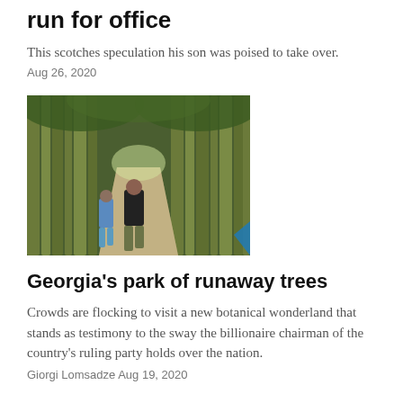run for office
This scotches speculation his son was poised to take over.
Aug 26, 2020
[Figure (photo): People walking along a path through a dense bamboo forest park, with tall bamboo trunks on either side. A man in a black shirt and camouflage shorts walks in the foreground, with other visitors behind him.]
Georgia's park of runaway trees
Crowds are flocking to visit a new botanical wonderland that stands as testimony to the sway the billionaire chairman of the country's ruling party holds over the nation.
Giorgi Lomsadze Aug 19, 2020